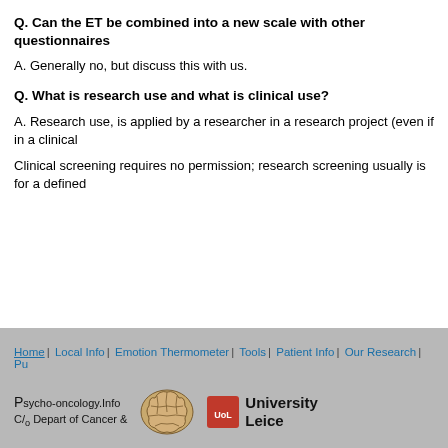Q. Can the ET be combined into a new scale with other questionnaires
A. Generally no, but discuss this with us.
Q. What is research use and what is clinical use?
A. Research use, is applied by a researcher in a research project (even if in a clinical
Clinical screening requires no permission; research screening usually is for a defined
Home | Local Info | Emotion Thermometer | Tools | Patient Info | Our Research | Pu... | Psycho-oncology.Info C/o Depart of Cancer & | [brain logo] | University Leice...